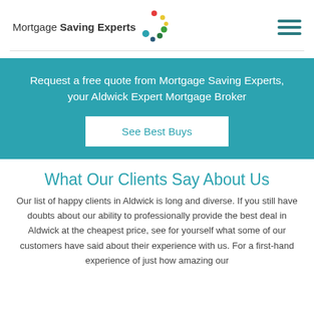Mortgage Saving Experts
Request a free quote from Mortgage Saving Experts, your Aldwick Expert Mortgage Broker
See Best Buys
What Our Clients Say About Us
Our list of happy clients in Aldwick is long and diverse. If you still have doubts about our ability to professionally provide the best deal in Aldwick at the cheapest price, see for yourself what some of our customers have said about their experience with us. For a first-hand experience of just how amazing our